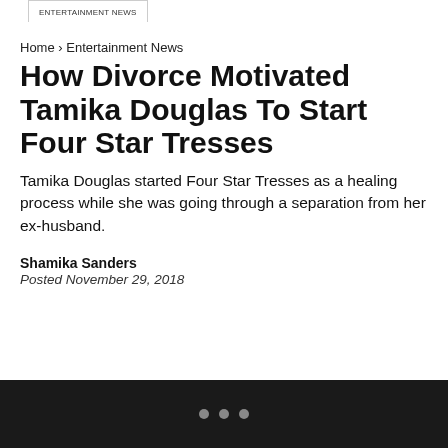ENTERTAINMENT NEWS
Home › Entertainment News
How Divorce Motivated Tamika Douglas To Start Four Star Tresses
Tamika Douglas started Four Star Tresses as a healing process while she was going through a separation from her ex-husband.
Shamika Sanders
Posted November 29, 2018